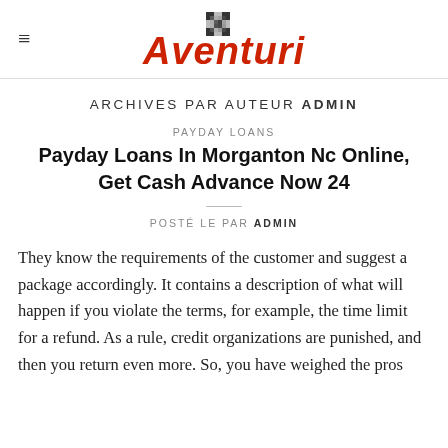Aventuri
ARCHIVES PAR AUTEUR ADMIN
PAYDAY LOANS
Payday Loans In Morganton Nc Online, Get Cash Advance Now 24
POSTÉ LE PAR ADMIN
They know the requirements of the customer and suggest a package accordingly. It contains a description of what will happen if you violate the terms, for example, the time limit for a refund. As a rule, credit organizations are punished, and then you return even more. So, you have weighed the pros